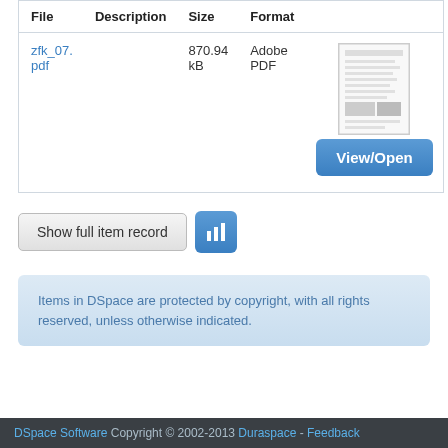| File | Description | Size | Format |  |
| --- | --- | --- | --- | --- |
| zfk_07.pdf |  | 870.94 kB | Adobe PDF | [thumbnail] View/Open |
Show full item record
Items in DSpace are protected by copyright, with all rights reserved, unless otherwise indicated.
DSpace Software Copyright © 2002-2013  Duraspace - Feedback